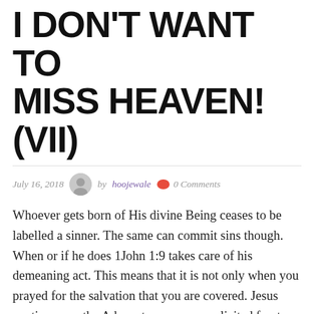I DON'T WANT TO MISS HEAVEN! (VII)
July 16, 2018   by hoojewale   0 Comments
Whoever gets born of His divine Being ceases to be labelled a sinner. The same can commit sins though. When or if he does 1John 1:9 takes care of his demeaning act. This means that it is not only when you prayed for the salvation that you are covered. Jesus continues, as the Advocate you never solicited for, to keep your righteousness intact. Amen! When or if you find yourself being spiritually distracted by a certain gravitational pull towards an untoward sinfulness I recommend you go for a cleansing deliverance.